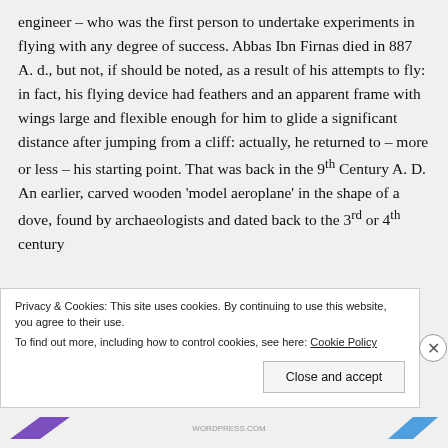engineer – who was the first person to undertake experiments in flying with any degree of success. Abbas Ibn Firnas died in 887 A. d., but not, if should be noted, as a result of his attempts to fly: in fact, his flying device had feathers and an apparent frame with wings large and flexible enough for him to glide a significant distance after jumping from a cliff: actually, he returned to – more or less – his starting point. That was back in the 9th Century A. D. An earlier, carved wooden 'model aeroplane' in the shape of a dove, found by archaeologists and dated back to the 3rd or 4th century
Privacy & Cookies: This site uses cookies. By continuing to use this website, you agree to their use.
To find out more, including how to control cookies, see here: Cookie Policy